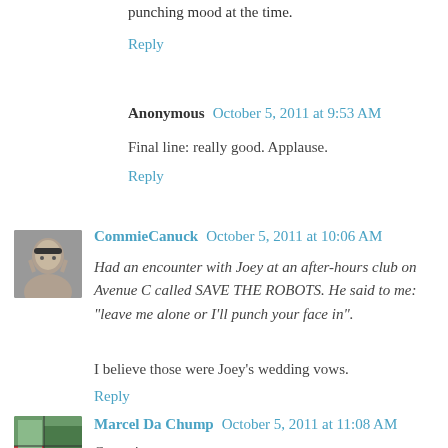punching mood at the time.
Reply
Anonymous  October 5, 2011 at 9:53 AM
Final line: really good. Applause.
Reply
CommieCanuck  October 5, 2011 at 10:06 AM
Had an encounter with Joey at an after-hours club on Avenue C called SAVE THE ROBOTS. He said to me: "leave me alone or I'll punch your face in".
I believe those were Joey's wedding vows.
Reply
Marcel Da Chump  October 5, 2011 at 11:08 AM
Commie